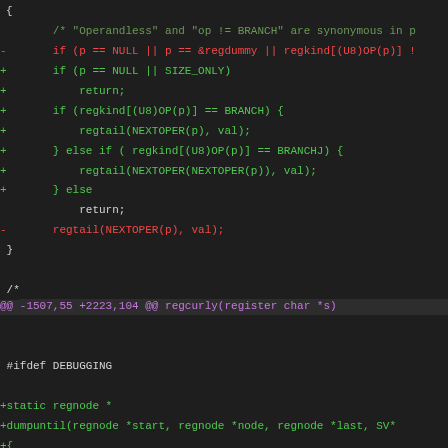Code diff showing changes to regtail and regcurly functions in a C source file
[Figure (screenshot): Syntax-highlighted code diff in dark theme showing removed lines in red and added lines in green, with hunk headers in magenta]